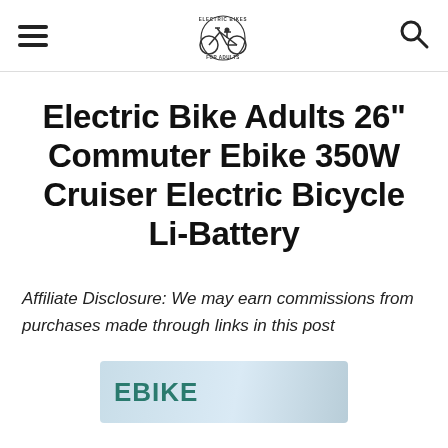Electric Bikes For Adults (logo with hamburger menu and search icon)
Electric Bike Adults 26" Commuter Ebike 350W Cruiser Electric Bicycle Li-Battery
Affiliate Disclosure: We may earn commissions from purchases made through links in this post
[Figure (photo): Partial ebike product image showing EBIKE logo/text on a light blue background]